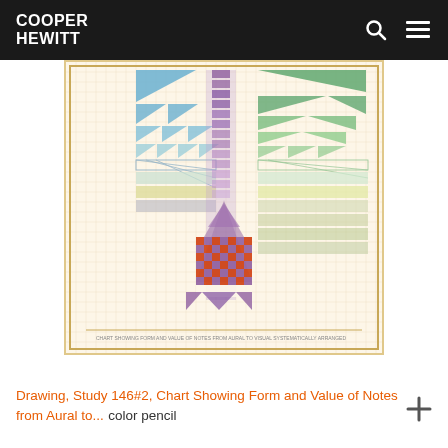COOPER HEWITT
[Figure (photo): A complex geometric drawing on grid paper showing a chart with triangular, checkerboard, and repeating pattern shapes in blue, green, purple, orange, and yellow. The artwork is 'Study 146#2, Chart Showing Form and Value of Notes from Aural to...' displayed in the Cooper Hewitt museum website.]
Drawing, Study 146#2, Chart Showing Form and Value of Notes from Aural to... color pencil